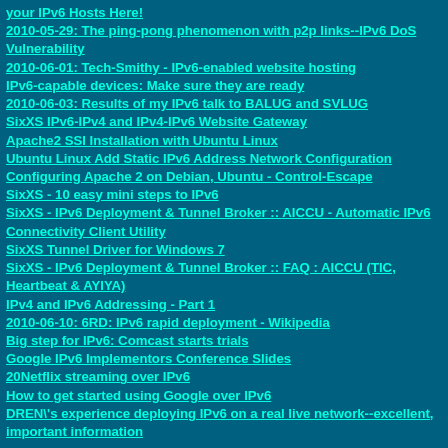your IPv6 Hosts Here!
2010-05-29: The ping-pong phenomenon with p2p links--IPv6 DoS Vulnerability
2010-06-01: Tech-Smithy - IPv6-enabled website hosting
IPv6-capable devices: Make sure they are ready
2010-06-03: Results of my IPv6 talk to BALUG and SVLUG
SixXS IPv6-IPv4 and IPv4-IPv6 Website Gateway
Apache2 SSI Installation with Ubuntu Linux
Ubuntu Linux Add Static IPv6 Address Network Configuration
Configuring Apache 2 on Debian, Ubuntu - Control-Escape
SixXS - 10 easy mini steps to IPv6
SixXS - IPv6 Deployment & Tunnel Broker :: AICCU - Automatic IPv6 Connectivity Client Utility
SixXS Tunnel Driver for Windows 7
SixXS - IPv6 Deployment & Tunnel Broker :: FAQ : AICCU (TIC, Heartbeat & AYIYA)
IPv4 and IPv6 Addressing - Part 1
2010-06-10: 6RD: IPv6 rapid deployment - Wikipedia
Big step for IPv6: Comcast starts trials
Google IPv6 Implementors Conference Slides
20Netflix streaming over IPv6
How to get started using Google over IPv6
DREN\'s experience deploying IPv6 on a real live network--excellent, important information